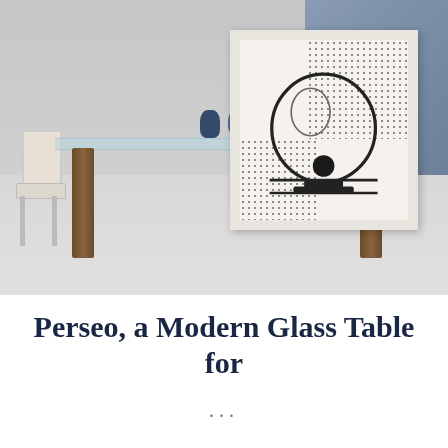[Figure (photo): Modern interior scene showing a glass-top dining table with wooden legs, a white chair on the left, two blue decorative vases on the table surface, and a large framed black-and-white artwork featuring a bowl illustration with dot patterns. The room has a grey wall on the left and a blue-grey wall on the right.]
Perseo, a Modern Glass Table for